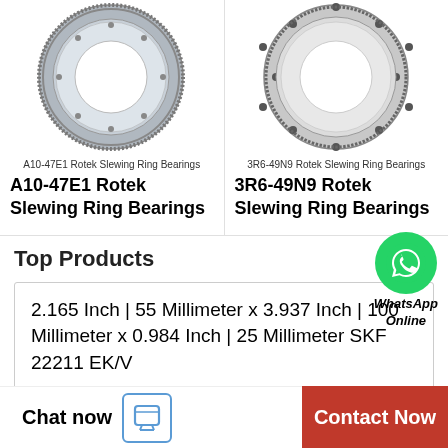[Figure (photo): A10-47E1 Rotek slewing ring bearing, circular gear ring, metallic, viewed from front]
A10-47E1 Rotek Slewing Ring Bearings
A10-47E1 Rotek Slewing Ring Bearings
[Figure (photo): 3R6-49N9 Rotek slewing ring bearing, circular gear ring, metallic, viewed from front]
3R6-49N9 Rotek Slewing Ring Bearings
3R6-49N9 Rotek Slewing Ring Bearings
[Figure (logo): WhatsApp green circle logo with phone handset icon, text: WhatsApp Online]
Top Products
2.165 Inch | 55 Millimeter x 3.937 Inch | 100 Millimeter x 0.984 Inch | 25 Millimeter SKF 22211 EK/V
Chat now   Contact Now